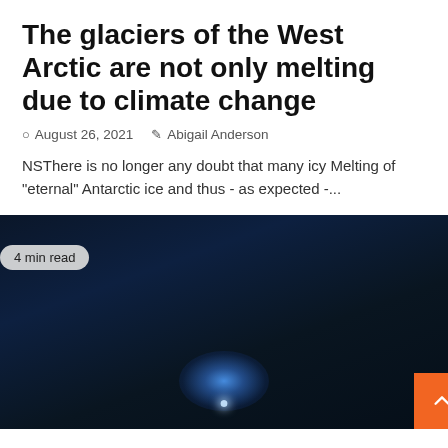The glaciers of the West Arctic are not only melting due to climate change
© August 26, 2021   ✏ Abigail Anderson
NSThere is no longer any doubt that many icy Melting of "eternal" Antarctic ice and thus - as expected -...
[Figure (photo): Dark background image showing a glowing blue light source (possibly a comet or celestial object) with a bright central dot, against a nearly black background. A '4 min read' badge is overlaid in the upper left corner, and an orange scroll-to-top button is in the lower right corner.]